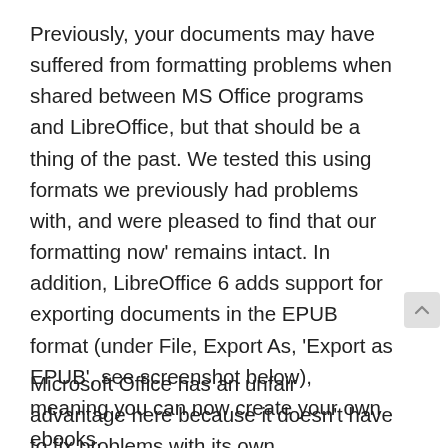Previously, your documents may have suffered from formatting problems when shared between MS Office programs and LibreOffice, but that should be a thing of the past. We tested this using formats we previously had problems with, and were pleased to find that our formatting now' remains intact. In addition, LibreOffice 6 adds support for exporting documents in the EPUB format (under File, Export As, 'Export as EPUB', see screenshot below), meaning you can now create your own ebooks.
Microsoft Office has an unfair advantage here because it doesn't have to fix problems with its own